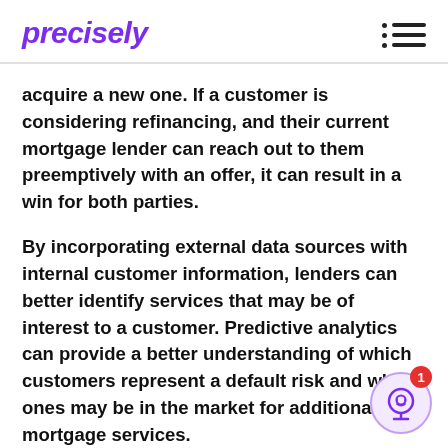precisely
acquire a new one. If a customer is considering refinancing, and their current mortgage lender can reach out to them preemptively with an offer, it can result in a win for both parties.
By incorporating external data sources with internal customer information, lenders can better identify services that may be of interest to a customer. Predictive analytics can provide a better understanding of which customers represent a default risk and which ones may be in the market for additional mortgage services.